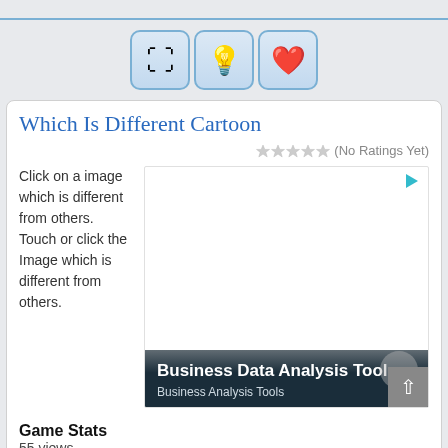[Figure (illustration): Three icon buttons in blue-bordered rounded boxes: a resize/fullscreen icon, a lightbulb icon, and a red heart icon]
Which Is Different Cartoon
(No Ratings Yet)
Click on a image which is different from others. Touch or click the Image which is different from others.
[Figure (screenshot): Advertisement area with Business Data Analysis Tools promo showing title and subtitle 'Business Analysis Tools']
Game Stats
55 views